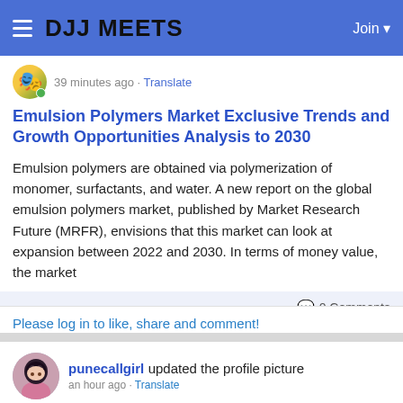DJJ MEETS  Join
39 minutes ago · Translate
Emulsion Polymers Market Exclusive Trends and Growth Opportunities Analysis to 2030
Emulsion polymers are obtained via polymerization of monomer, surfactants, and water. A new report on the global emulsion polymers market, published by Market Research Future (MRFR), envisions that this market can look at expansion between 2022 and 2030. In terms of money value, the market
0 Comments
Please log in to like, share and comment!
punecallgirl updated the profile picture
an hour ago · Translate